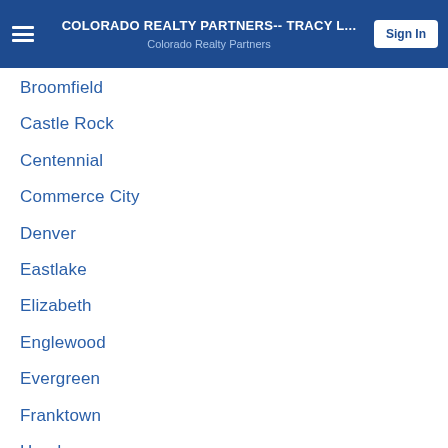COLORADO REALTY PARTNERS-- TRACY L... | Colorado Realty Partners | Sign In
Broomfield
Castle Rock
Centennial
Commerce City
Denver
Eastlake
Elizabeth
Englewood
Evergreen
Franktown
Henderson
Highlands Ranch
Kiowa